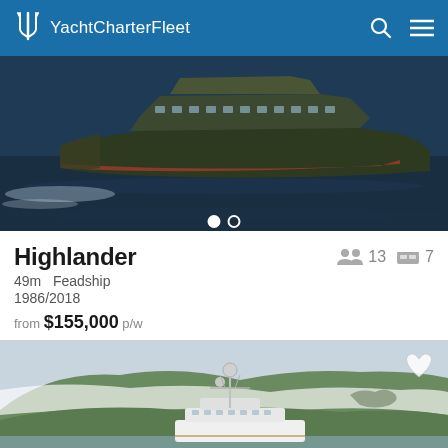YachtCharterFleet
[Figure (photo): Aerial view of Highlander yacht, a large dark-hulled motor yacht underway on open water]
Highlander
49m  Feadship
1986/2018
from $155,000 p/w
[Figure (photo): White motor yacht Highlander anchored in a fjord or bay with misty green hills in the background]